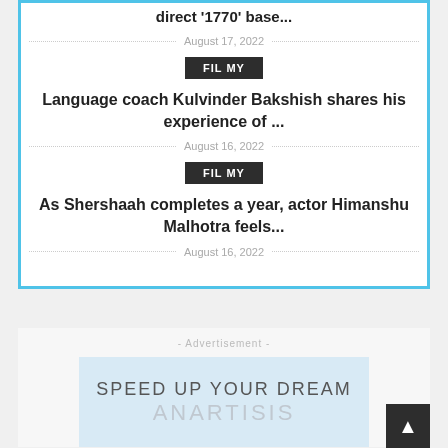direct '1770' base...
August 17, 2022
FIL MY
Language coach Kulvinder Bakshish shares his experience of ...
August 16, 2022
FIL MY
As Shershaah completes a year, actor Himanshu Malhotra feels...
August 16, 2022
- Advertisement -
[Figure (other): Advertisement banner with text SPEED UP YOUR DREAM and ANARTISIS on light blue background]